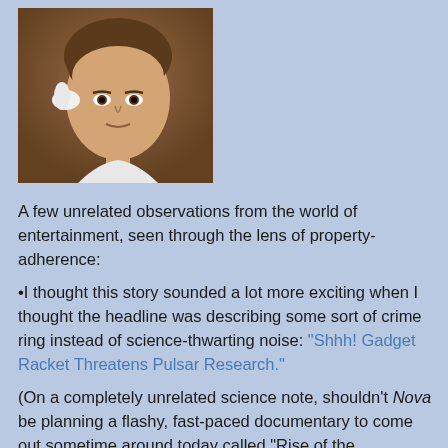[Figure (photo): Close-up photo of a young person with short brown hair, wearing a light-colored garment, looking intensely at the camera]
A few unrelated observations from the world of entertainment, seen through the lens of property-adherence:
•I thought this story sounded a lot more exciting when I thought the headline was describing some sort of crime ring instead of science-thwarting noise: “Shhh! Gadget Racket Threatens Pulsar Research.”
(On a completely unrelated science note, shouldn't Nova be planning a flashy, fast-paced documentary to come out sometime around today called “Rise of the Lichens”?)
•Did you know that Basil Rathbone of Sherlock Holmes fame (not to be confused with Robert Downey Jr., who'll play Holmes late this year, in his second comic book-based role in two years) made over eighty films? Assuming he was not a billionaire, this is a reminder that celebrities probably don't